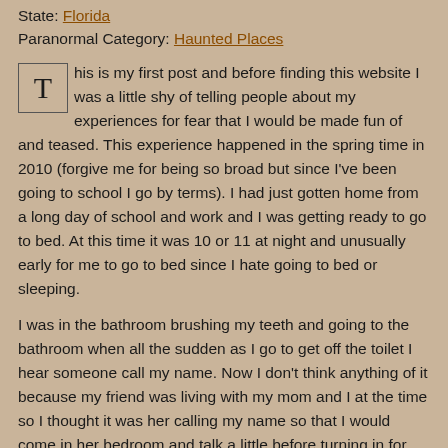State: Florida
Paranormal Category: Haunted Places
This is my first post and before finding this website I was a little shy of telling people about my experiences for fear that I would be made fun of and teased. This experience happened in the spring time in 2010 (forgive me for being so broad but since I've been going to school I go by terms). I had just gotten home from a long day of school and work and I was getting ready to go to bed. At this time it was 10 or 11 at night and unusually early for me to go to bed since I hate going to bed or sleeping.
I was in the bathroom brushing my teeth and going to the bathroom when all the sudden as I go to get off the toilet I hear someone call my name. Now I don't think anything of it because my friend was living with my mom and I at the time so I thought it was her calling my name so that I would come in her bedroom and talk a little before turning in for the night. Her bedroom is literally right across from the bathroom so I hurried in the door (which by the way was almost all the way shut) and call her name while noticing that she looks like she's asleep.
My friend turns over and asks what I want and I ask her right back what does she mean what do I want she was the one that called